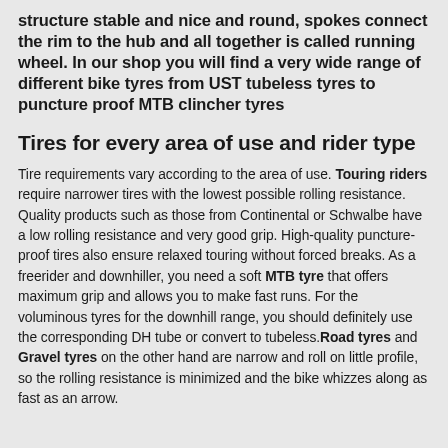structure stable and nice and round, spokes connect the rim to the hub and all together is called running wheel. In our shop you will find a very wide range of different bike tyres from UST tubeless tyres to puncture proof MTB clincher tyres
Tires for every area of use and rider type
Tire requirements vary according to the area of use. Touring riders require narrower tires with the lowest possible rolling resistance. Quality products such as those from Continental or Schwalbe have a low rolling resistance and very good grip. High-quality puncture-proof tires also ensure relaxed touring without forced breaks. As a freerider and downhiller, you need a soft MTB tyre that offers maximum grip and allows you to make fast runs. For the voluminous tyres for the downhill range, you should definitely use the corresponding DH tube or convert to tubeless.Road tyres and Gravel tyres on the other hand are narrow and roll on little profile, so the rolling resistance is minimized and the bike whizzes along as fast as an arrow.